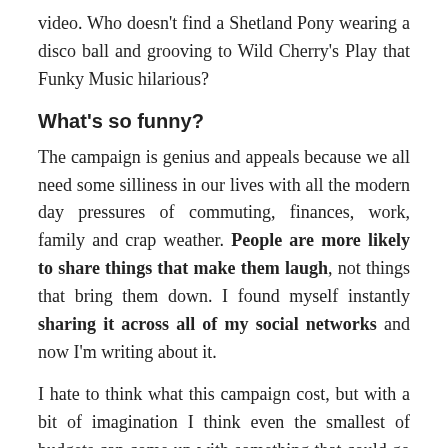video.  Who doesn't find a Shetland Pony wearing a disco ball and grooving to Wild Cherry's Play that Funky Music hilarious?
What's so funny?
The campaign is genius and appeals because we all need some silliness in our lives with all the modern day pressures of commuting, finances, work, family and crap weather. People are more likely to share things that make them laugh, not things that bring them down.  I found myself instantly sharing it across all of my social networks and now I'm writing about it.
I hate to think what this campaign cost, but with a bit of imagination I think even the smallest of budgets can come up with something that could go viral.
What other campaigns have you seen that compare to this one?